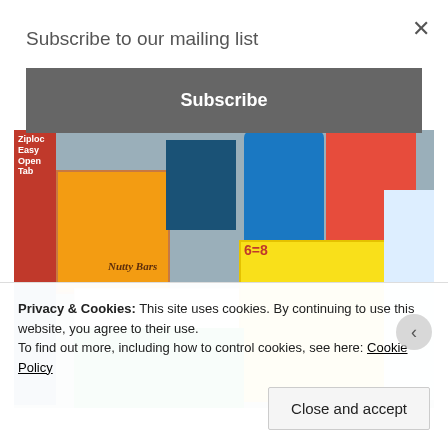Subscribe to our mailing list
Subscribe
[Figure (photo): Photo of grocery/household items including Cottonelle, Bounty Basic, Clorox, Dawn, Ziploc, Nutty Bars, and other products]
Privacy & Cookies: This site uses cookies. By continuing to use this website, you agree to their use.
To find out more, including how to control cookies, see here: Cookie Policy
Close and accept